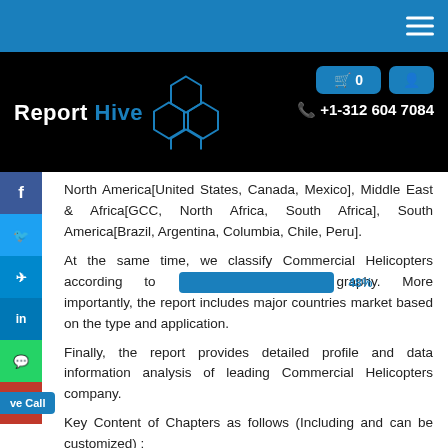Report Hive — +1-312 604 7084
North America[United States, Canada, Mexico], Middle East & Africa[GCC, North Africa, South Africa], South America[Brazil, Argentina, Columbia, Chile, Peru].
At the same time, we classify Commercial Helicopters according to [redacted] graphy. More importantly, the report includes major countries market based on the type and application.
Finally, the report provides detailed profile and data information analysis of leading Commercial Helicopters company.
Key Content of Chapters as follows (Including and can be customized) :
Part 1:
Market Overview, Development, and Segment by Type,